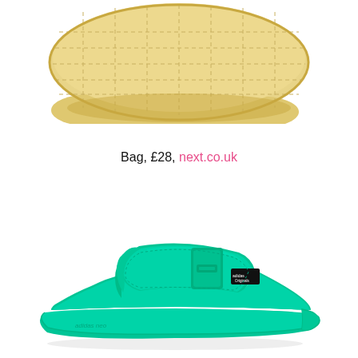[Figure (photo): A quilted beige/cream colored bag photographed against a white background, showing the top/bottom portion of the bag with visible stitching patterns forming diamond/chevron shapes.]
Bag, £28, next.co.uk
[Figure (photo): A bright mint/turquoise green Adidas slide sandal with a wide adjustable strap and buckle closure, shown in profile view against a white background. The sole and upper are the same bright green color with Adidas branding.]